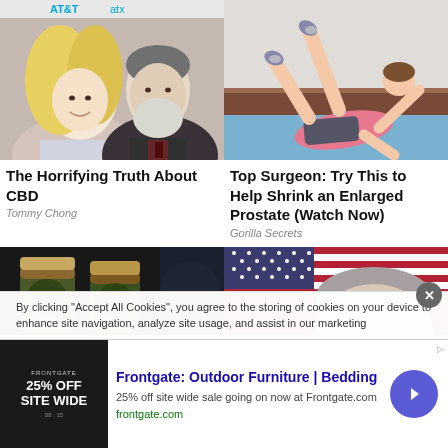[Figure (photo): Couple at AT&T event - blonde woman and gray-bearded man smiling]
[Figure (illustration): Illustrated figure doing a yoga/exercise stretch on a mat]
The Horrifying Truth About CBD
Tommy Chong
Top Surgeon: Try This to Help Shrink an Enlarged Prostate (Watch Now)
Gorilla Secrets
[Figure (photo): Glass jars with green herbs/ingredients on dark background]
[Figure (photo): Gray-haired man in front of American flag]
By clicking "Accept All Cookies", you agree to the storing of cookies on your device to enhance site navigation, analyze site usage, and assist in our marketing
[Figure (other): Frontgate advertisement - Outdoor Furniture | Bedding, 25% off sitewide sale]
Frontgate: Outdoor Furniture | Bedding
25% off site wide sale going on now at Frontgate.com
frontgate.com